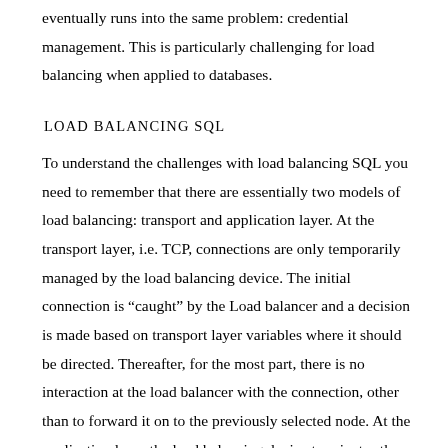eventually runs into the same problem: credential management. This is particularly challenging for load balancing when applied to databases.
LOAD BALANCING SQL
To understand the challenges with load balancing SQL you need to remember that there are essentially two models of load balancing: transport and application layer. At the transport layer, i.e. TCP, connections are only temporarily managed by the load balancing device. The initial connection is “caught” by the Load balancer and a decision is made based on transport layer variables where it should be directed. Thereafter, for the most part, there is no interaction at the load balancer with the connection, other than to forward it on to the previously selected node. At the application layer the load balancing device terminates the connection and interacts with every exchange. This affords the load balancing device the opportunity to inspect the